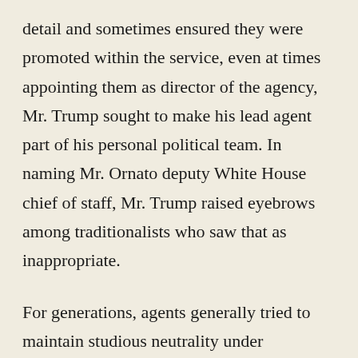detail and sometimes ensured they were promoted within the service, even at times appointing them as director of the agency, Mr. Trump sought to make his lead agent part of his personal political team. In naming Mr. Ornato deputy White House chief of staff, Mr. Trump raised eyebrows among traditionalists who saw that as inappropriate.
For generations, agents generally tried to maintain studious neutrality under Republican and Democratic presidents, determined to be seen as protectors of the office regardless of who occupied it. Agents were known to like certain